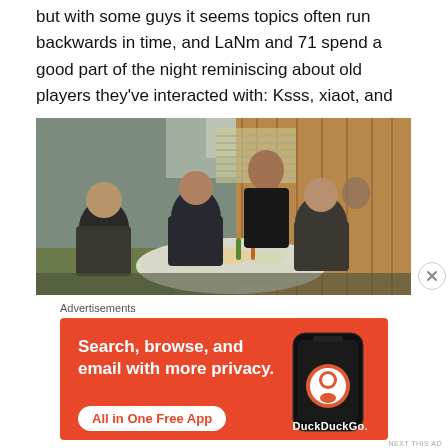but with some guys it seems topics often run backwards in time, and LaNm and 71 spend a good part of the night reminiscing about old players they've interacted with: Ksss, xiaot, and so on...
[Figure (photo): Several men seated around a round table at a restaurant, eating a meal together. The setting appears to be an Asian restaurant with wooden wall paneling.]
Advertisements
[Figure (infographic): DuckDuckGo advertisement: 'Search, browse, and email with more privacy. All in One Free App' with phone graphic and DuckDuckGo logo.]